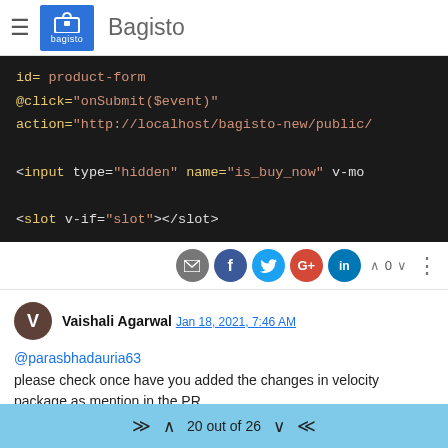Bagisto
[Figure (screenshot): Code editor screenshot showing HTML/Vue template code with dark background. Shows: id='product-form', @click='onSubmit($event)', action='http://localhost/bagisto-new/public/', <input type='hidden' name='is_buy_now' v-mod..., <slot v-if='slot'></slot>]
Social sharing buttons row with email, Facebook, Twitter, Google+, LinkedIn icons and vote counter showing 0
Vaishali Agarwal Jan 18, 2021, 7:46 AM
@parasbhadauria63
please check once have you added the changes in velocity package as mention in the PR
check these files & changes must be added into your project as well https://prnt.sc/x3wumb
20 out of 26